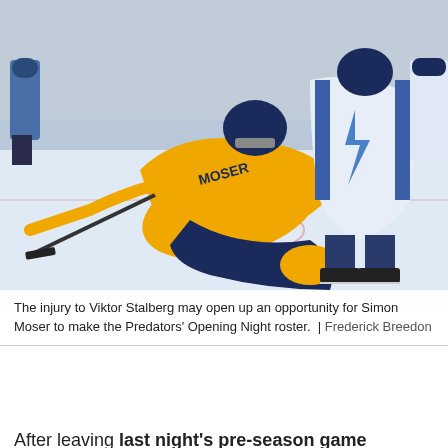[Figure (photo): Hockey action photo showing a Nashville Predators player in gold/yellow jersey (Simon Moser, number visible) diving/sliding on ice while a Tampa Bay Lightning player in white and blue jersey is nearby. Ice rink background with other players visible.]
The injury to Viktor Stalberg may open up an opportunity for Simon Moser to make the Predators' Opening Night roster.  |  Frederick Breedon
After leaving last night's pre-season game between